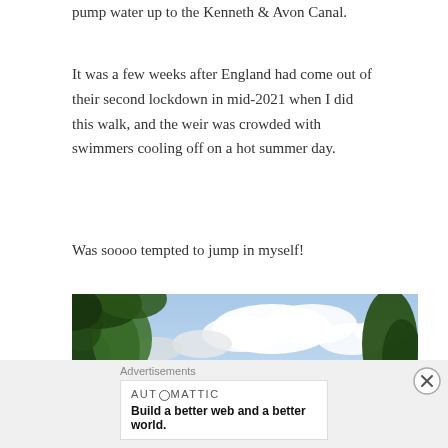pump water up to the Kenneth & Avon Canal.
It was a few weeks after England had come out of their second lockdown in mid-2021 when I did this walk, and the weir was crowded with swimmers cooling off on a hot summer day.
Was soooo tempted to jump in myself!
[Figure (photo): Outdoor countryside photo showing green trees in the foreground framing a view of a green valley and hills under a partly cloudy blue sky.]
Advertisements
AUTOMATTIC
Build a better web and a better world.